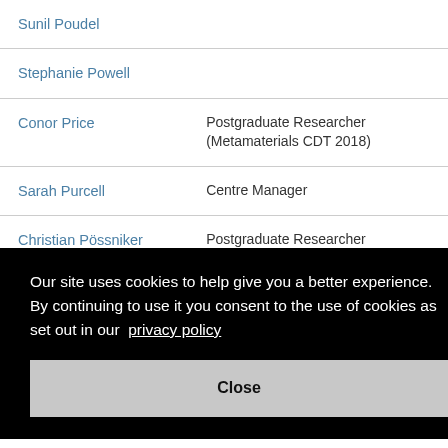| Name | Role |
| --- | --- |
| Sunil Poudel |  |
| Stephanie Powell |  |
| Conor Price | Postgraduate Researcher (Metamaterials CDT 2018) |
| Sarah Purcell | Centre Manager |
| Christian Pössniker | Postgraduate Researcher |
Our site uses cookies to help give you a better experience. By continuing to use it you consent to the use of cookies as set out in our privacy policy
Close